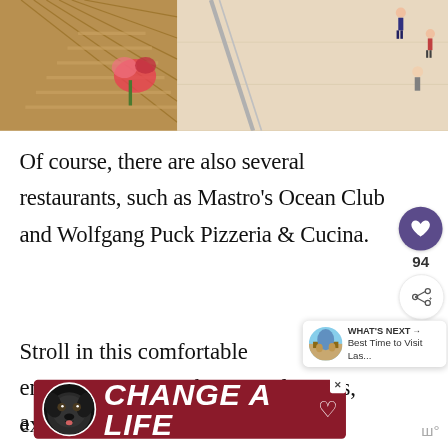[Figure (photo): Interior of a shopping mall viewed from above, showing escalators/stairs, plants, and people walking on a light-colored floor.]
Of course, there are also several restaurants, such as Mastro's Ocean Club and Wolfgang Puck Pizzeria & Cucina.
Stroll in this comfortable environment, past the water features, excellent flora,
[Figure (screenshot): UI overlay showing a purple heart/like button with count 94, a share button, and a 'What's Next' card showing 'Best Time to Visit Las...']
[Figure (photo): Advertisement banner for 'CHANGE A LIFE' featuring a black Labrador dog on a dark red background.]